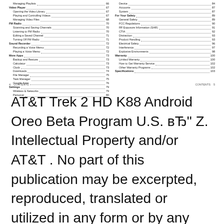| Managing Playlists | 66 |
| Video Player | 67 |
| Opening the Video Library | 67 |
| Playing and Controlling Videos | 67 |
| Managing Video Files | 68 |
| FM Radio | 70 |
| Scanning and Saving Channels | 70 |
| Listening to FM Radio | 70 |
| Editing a Saved Channel | 71 |
| Turning Off FM Radio | 71 |
| Sound Recorder | 72 |
| Recording a Voice Memo | 72 |
| Playing a Voice Memo | 72 |
| More Apps | 73 |
| Backup and Restore | 73 |
| Calculator | 73 |
| Clock | 73 |
| Downloads | 74 |
| File Manager | 75 |
| Task Manager | 75 |
| Google Apps | 76 |
| Settings | 79 |
| Wireless & Networks | 79 |
| Personal | 80 |
| Device | 84 |
| Accounts | 87 |
| System | 87 |
| For Your Safety | 89 |
| General Safety | 89 |
| FCC Regulations | 90 |
| RF Exposure Information (SAR) | 91 |
| CTIA | 92 |
| Distraction | 93 |
| Product Handling | 93 |
| Electrical Safety | 96 |
| Interference | 97 |
| Explosive Environments | 98 |
| Warranty | 100 |
| Limited Warranty | 100 |
| How to Get Warranty Service | 102 |
| Other Warranty Programs | 102 |
| Specifications | 103 |
4    CONTENTS                    CONTENTS    5
AT&T Trek 2 HD K88 Android Oreo Beta Program U.S. вЂ" Z. Intellectual Property and/or AT&T . No part of this publication may be excerpted, reproduced, translated or utilized in any form or by any means, electronic or mechanical, including photocopying and microfilm, without the prior written permission of ZTE Corporation . The manual is published by ZTE Corporation . We reserve the right to make,